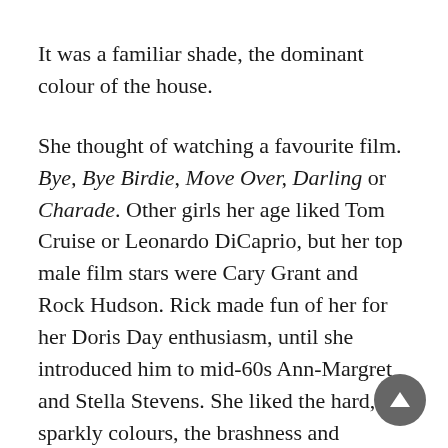It was a familiar shade, the dominant colour of the house.
She thought of watching a favourite film. Bye, Bye Birdie, Move Over, Darling or Charade. Other girls her age liked Tom Cruise or Leonardo DiCaprio, but her top male film stars were Cary Grant and Rock Hudson. Rick made fun of her for her Doris Day enthusiasm, until she introduced him to mid-60s Ann-Margret and Stella Stevens. She liked the hard, sparkly colours, the brashness and confidence even of neurotics, the brassy orchestrations of the theme songs. For his birthday, she had bought Rick a sports jacket with a fine hound's-tooth weave. She wanted them to be like the chummy but peppery couples in the films, who constantly teased each other but were hipper and smarter than the rest. They were a team against the